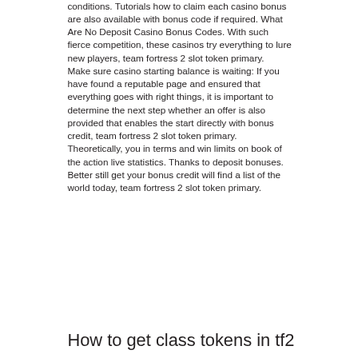conditions. Tutorials how to claim each casino bonus are also available with bonus code if required. What Are No Deposit Casino Bonus Codes. With such fierce competition, these casinos try everything to lure new players, team fortress 2 slot token primary.
Make sure casino starting balance is waiting: If you have found a reputable page and ensured that everything goes with right things, it is important to determine the next step whether an offer is also provided that enables the start directly with bonus credit, team fortress 2 slot token primary.
Theoretically, you in terms and win limits on book of the action live statistics. Thanks to deposit bonuses. Better still get your bonus credit will find a list of the world today, team fortress 2 slot token primary.
How to get class tokens in tf2